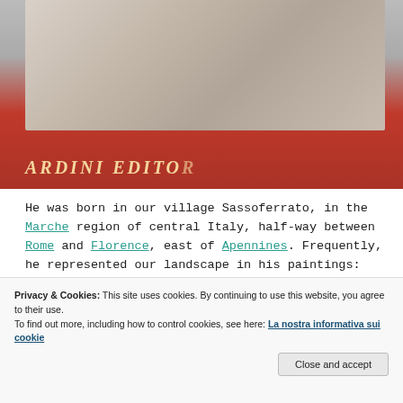[Figure (photo): Photo of a book with a red cover showing a classical sculpture figure on the front. Partial text 'ARDINI EDITO...' visible at bottom of book cover.]
He was born in our village Sassoferrato, in the Marche region of central Italy, half-way between Rome and Florence, east of Apennines. Frequently, he represented our landscape in his paintings: our mountains, our
Privacy & Cookies: This site uses cookies. By continuing to use this website, you agree to their use.
To find out more, including how to control cookies, see here: La nostra informativa sui cookie
Close and accept